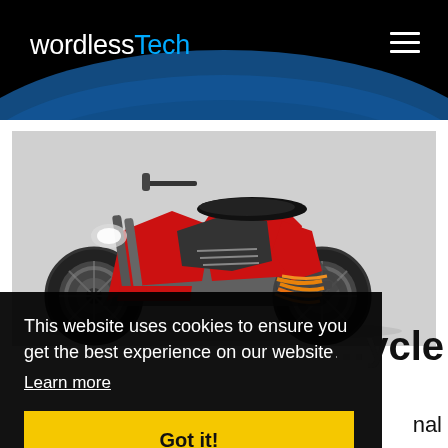wordlessTech
[Figure (photo): Red and black futuristic electric motorcycle concept render on a light gray background, viewed from the front-left side. The motorcycle features angular bodywork, exposed orange cables, and large wheels.]
This website uses cookies to ensure you get the best experience on our website.
Learn more
Got it!
motorcycle
nal